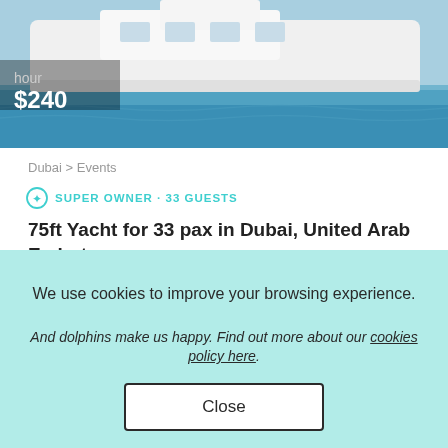[Figure (photo): White luxury yacht on blue water, partially visible at top of page with price overlay showing 'hour' and '$240']
Dubai > Events
SUPER OWNER · 33 GUESTS
75ft Yacht for 33 pax in Dubai, United Arab Emirates
[Figure (photo): Small motorboat with canopy on blue water, two people seated, 4 out of 5 stars rating displayed]
We use cookies to improve your browsing experience.
And dolphins make us happy. Find out more about our cookies policy here.
Close